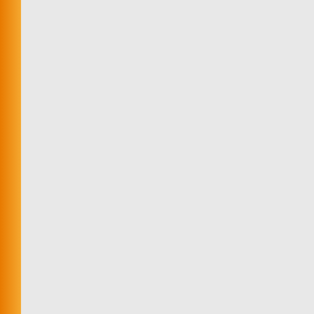| No. | Date | Title |
| --- | --- | --- |
| 541. | 02/06/2017 | ADDITIONS DIPLOMA C... |
| 542. | 31/05/2017 | UGLAW-201... |
| 543. | 31/05/2017 | Re-examination SEMESTER... |
| 544. | 26/05/2017 | Addition in th... Semester (R... |
| 545. | 26/05/2017 | Addition in th... SYLLABUS)... |
| 546. | 25/05/2017 | Change in th... Disability)-4t... |
| 547. | 25/05/2017 | CHANGE in... Examination... |
| 548. | 24/05/2017 | Addition in d... Disability)-2n... |
| 549. | 23/05/2017 | Answer Key... |
| 550. | 23/05/2017 | Question Bo... |
| 551. | 22/05/2017 | ADDITIONS (MBA)-2ND,... |
| 552. | 22/05/2017 | change in th... |